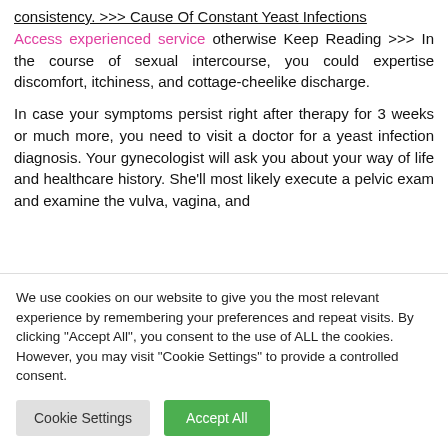consistency. >>> Cause Of Constant Yeast Infections Access experienced service otherwise Keep Reading >>> In the course of sexual intercourse, you could expertise discomfort, itchiness, and cottage-cheelike discharge.
In case your symptoms persist right after therapy for 3 weeks or much more, you need to visit a doctor for a yeast infection diagnosis. Your gynecologist will ask you about your way of life and healthcare history. She'll most likely execute a pelvic exam and examine the vulva, vagina, and
We use cookies on our website to give you the most relevant experience by remembering your preferences and repeat visits. By clicking "Accept All", you consent to the use of ALL the cookies. However, you may visit "Cookie Settings" to provide a controlled consent.